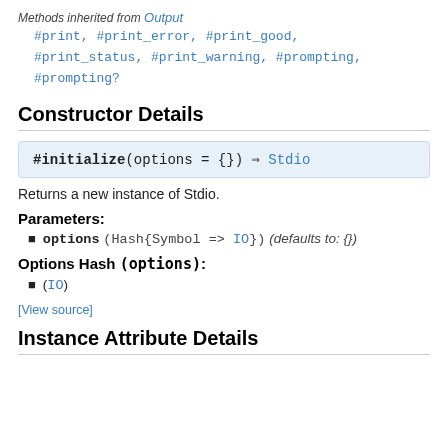Methods inherited from Output
#print, #print_error, #print_good, #print_status, #print_warning, #prompting, #prompting?
Constructor Details
#initialize(options = {}) ⇒ Stdio
Returns a new instance of Stdio.
Parameters:
options (Hash{Symbol => IO}) (defaults to: {})
Options Hash (options):
(IO)
[View source]
Instance Attribute Details